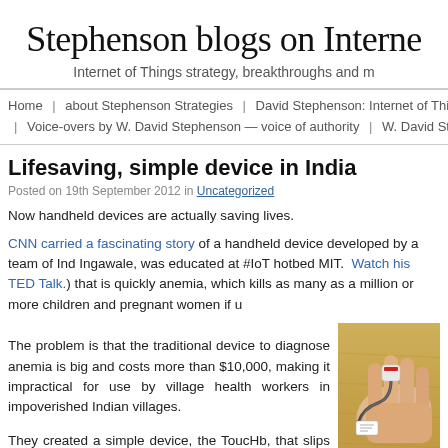Stephenson blogs on Interne
Internet of Things strategy, breakthroughs and m
Home | about Stephenson Strategies | David Stephenson: Internet of Thi | Voice-overs by W. David Stephenson — voice of authority | W. David Steph
Lifesaving, simple device in India
Posted on 19th September 2012 in Uncategorized
Now handheld devices are actually saving lives.
CNN carried a fascinating story of a handheld device developed by a team of Ind Ingawale, was educated at #IoT hotbed MIT. Watch his TED Talk.) that is quickly anemia, which kills as many as a million or more children and pregnant women if u
The problem is that the traditional device to diagnose anemia is big and costs more than $10,000, making it impractical for use by village health workers in impoverished Indian villages.
[Figure (photo): Photo of a hand with a medical device/sensor attached to fingers, showing a ToucHb device setup on a wooden surface]
They created a simple device, the ToucHb, that slips over a finger and emits three